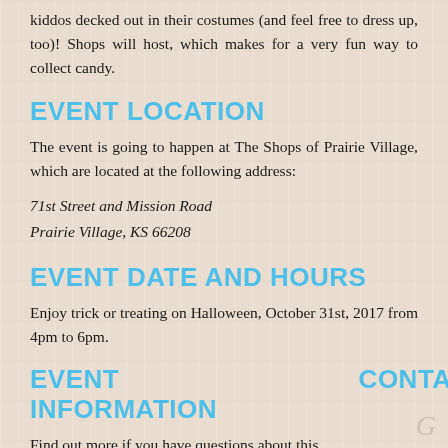kiddos decked out in their costumes (and feel free to dress up, too)! Shops will host, which makes for a very fun way to collect candy.
EVENT LOCATION
The event is going to happen at The Shops of Prairie Village, which are located at the following address:
71st Street and Mission Road
Prairie Village, KS 66208
EVENT DATE AND HOURS
Enjoy trick or treating on Halloween, October 31st, 2017 from 4pm to 6pm.
EVENT CONTACT INFORMATION
Find out more if you have questions about this